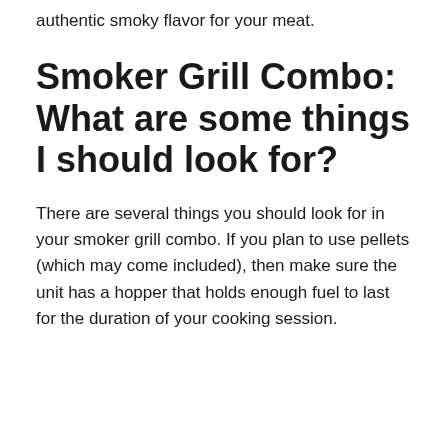authentic smoky flavor for your meat.
Smoker Grill Combo: What are some things I should look for?
There are several things you should look for in your smoker grill combo. If you plan to use pellets (which may come included), then make sure the unit has a hopper that holds enough fuel to last for the duration of your cooking session.